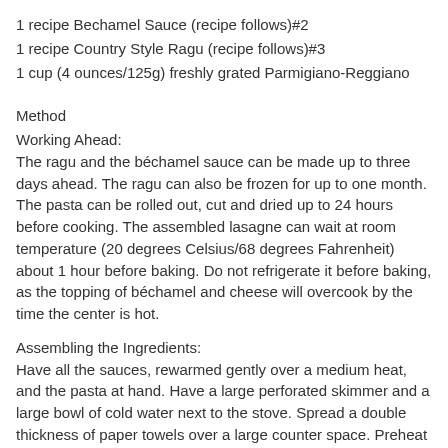1 recipe Bechamel Sauce (recipe follows)#2
1 recipe Country Style Ragu (recipe follows)#3
1 cup (4 ounces/125g) freshly grated Parmigiano-Reggiano
Method
Working Ahead:
The ragu and the béchamel sauce can be made up to three days ahead. The ragu can also be frozen for up to one month. The pasta can be rolled out, cut and dried up to 24 hours before cooking. The assembled lasagne can wait at room temperature (20 degrees Celsius/68 degrees Fahrenheit) about 1 hour before baking. Do not refrigerate it before baking, as the topping of béchamel and cheese will overcook by the time the center is hot.
Assembling the Ingredients:
Have all the sauces, rewarmed gently over a medium heat, and the pasta at hand. Have a large perforated skimmer and a large bowl of cold water next to the stove. Spread a double thickness of paper towels over a large counter space. Preheat the oven to 350 degrees Fahrenheit (180 degrees Celsius). Oil or butter a 3 quart (approx 3 litre) shallow